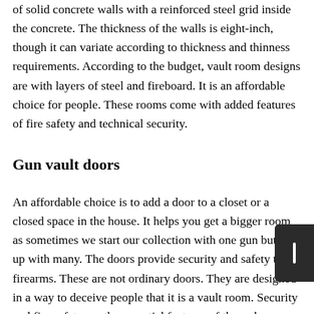of solid concrete walls with a reinforced steel grid inside the concrete. The thickness of the walls is eight-inch, though it can variate according to thickness and thinness requirements. According to the budget, vault room designs are with layers of steel and fireboard. It is an affordable choice for people. These rooms come with added features of fire safety and technical security.
Gun vault doors
An affordable choice is to add a door to a closet or a closed space in the house. It helps you get a bigger room as sometimes we start our collection with one gun but end up with many. The doors provide security and safety to firearms. These are not ordinary doors. They are designed in a way to deceive people that it is a vault room. Security and fire safety are the essential features of these doors. Secrecy is a vital aspect of security.